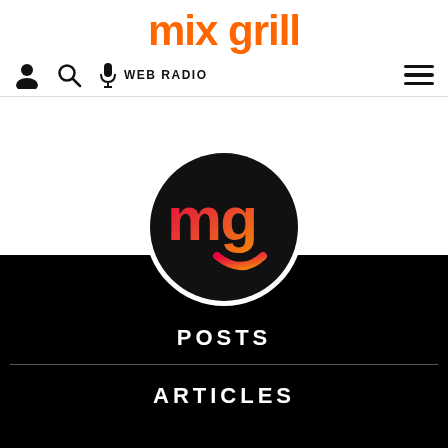mix grill
user icon | search icon | microphone WEB RADIO | hamburger menu
[Figure (logo): Mix Grill logo: black circle with 'mg' lettering in pink-to-orange gradient]
POSTS
ARTICLES